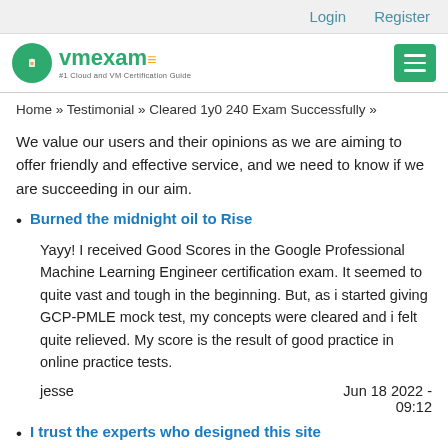Login   Register
[Figure (logo): vmexam logo with green circle icon and tagline '#1 Cloud and VM Certification Guide']
Home » Testimonial » Cleared 1y0 240 Exam Successfully »
We value our users and their opinions as we are aiming to offer friendly and effective service, and we need to know if we are succeeding in our aim.
Burned the midnight oil to Rise
Yayy! I received Good Scores in the Google Professional Machine Learning Engineer certification exam. It seemed to quite vast and tough in the beginning. But, as i started giving GCP-PMLE mock test, my concepts were cleared and i felt quite relieved. My score is the result of good practice in online practice tests.
jesse   Jun 18 2022 - 09:12
I trust the experts who designed this site
The way the question bank is designed reflects the experience